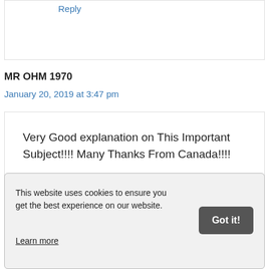Reply
MR OHM 1970
January 20, 2019 at 3:47 pm
Very Good explanation on This Important Subject!!!! Many Thanks From Canada!!!!
This website uses cookies to ensure you get the best experience on our website. Learn more